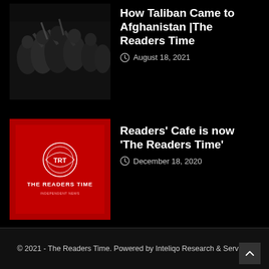[Figure (photo): Crowd of Taliban fighters with weapons, black and white photo]
How Taliban Came to Afghanistan |The Readers Time
August 18, 2021
[Figure (logo): Red background logo with THE READERS TIME text and circular emblem]
Readers’ Cafe is now ‘The Readers Time’
December 18, 2020
© 2021 - The Readers Time. Powered by Inteliqo Research & Services